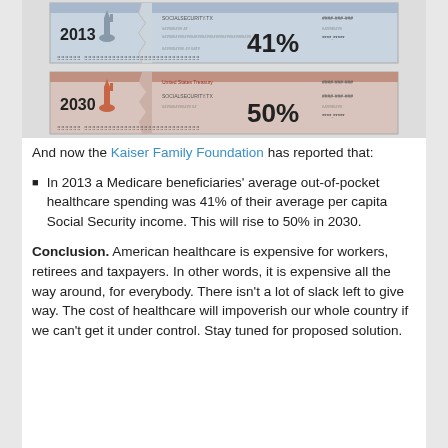[Figure (illustration): Two Social Security check images side by side with years 2013 (41%) and 2030 (50%) indicating Medicare out-of-pocket spending as a percentage of Social Security income. The 2013 check uses gray/blue tones and the 2030 check uses red/orange tones with a Statue of Liberty motif.]
And now the Kaiser Family Foundation has reported that:
In 2013 a Medicare beneficiaries' average out-of-pocket healthcare spending was 41% of their average per capita Social Security income. This will rise to 50% in 2030.
Conclusion.  American healthcare is expensive for workers, retirees and taxpayers. In other words, it is expensive all the way around, for everybody.  There isn't a lot of slack left to give way.  The cost of healthcare will impoverish our whole country if we can't get it under control.  Stay tuned for proposed solution.